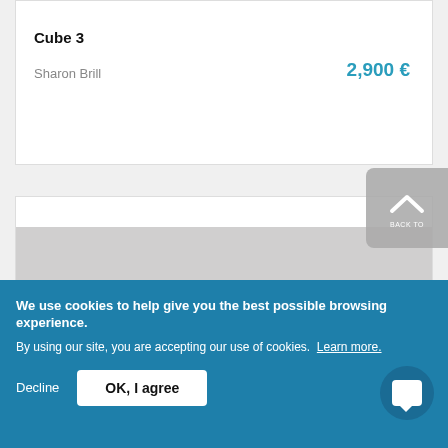Cube 3
Sharon Brill
2,900 €
[Figure (photo): Photograph of a white ceramic or porcelain sculpture with abstract curled and folded forms, photographed against a grey background.]
We use cookies to help give you the best possible browsing experience.
By using our site, you are accepting our use of cookies. Learn more.
Decline   OK, I agree